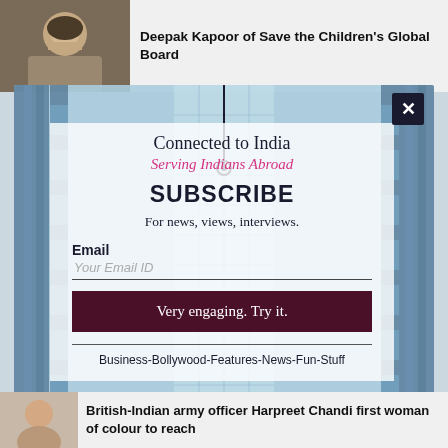Deepak Kapoor of Save the Children's Global Board
[Figure (screenshot): Newsletter subscription modal overlay on a news website. Modal shows 'Connected to India / Serving Indians Abroad / SUBSCRIBE / For news, views, interviews.' with email input and dark button 'Very engaging. Try it.' Tags: Business-Bollywood-Features-News-Fun-Stuff]
British-Indian army officer Harpreet Chandi first woman of colour to reach